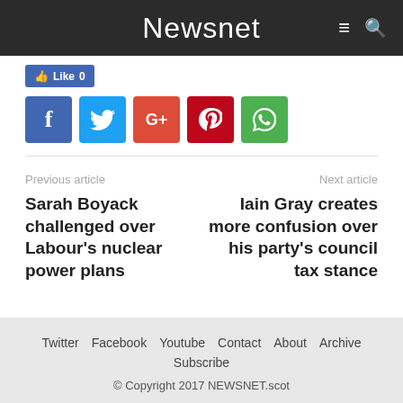Newsnet
[Figure (screenshot): Like button (Facebook Like 0) and social sharing icons: Facebook, Twitter, Google+, Pinterest, WhatsApp]
Previous article
Next article
Sarah Boyack challenged over Labour's nuclear power plans
Iain Gray creates more confusion over his party's council tax stance
Twitter  Facebook  Youtube  Contact  About  Archive  Subscribe
© Copyright 2017 NEWSNET.scot